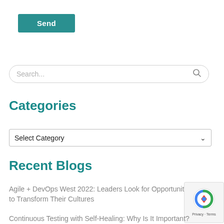[Figure (other): Teal/green 'Send' button]
[Figure (other): Search input field with placeholder text 'Search...' and a search icon on the right]
Categories
[Figure (other): Dropdown select box labeled 'Select Category' with a chevron/arrow icon]
Recent Blogs
Agile + DevOps West 2022: Leaders Look for Opportunities to Transform Their Cultures
[Figure (other): reCAPTCHA badge with logo and 'Privacy - Terms' text]
Continuous Testing with Self-Healing: Why Is It Important?